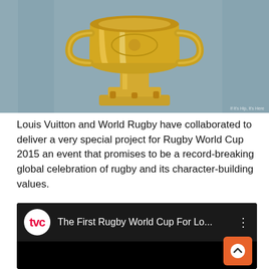[Figure (photo): A golden Rugby World Cup trophy against a blue-grey background. The trophy is ornate with handles and detailed engravings. Watermark text 'If It's Hip, It's Here' visible at bottom right.]
Louis Vuitton and World Rugby have collaborated to deliver a very special project for Rugby World Cup 2015 an event that promises to be a record-breaking global celebration of rugby and its character-building values.
[Figure (screenshot): A YouTube video thumbnail showing a TVC (TV Commercial) channel logo — a red circle with white 'tvc' text — followed by the video title 'The First Rugby World Cup For Lo...' on a dark/black background, with a three-dot menu icon on the right.]